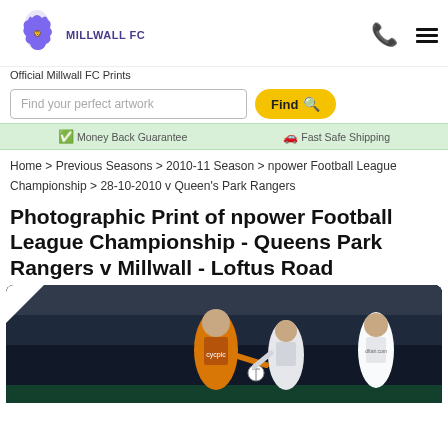[Figure (logo): Millwall FC logo with lion and text MILLWALL FC]
Official Millwall FC Prints
Find your perfect artwork
Find
Money Back Guarantee   Fast Safe Shipping
Home > Previous Seasons > 2010-11 Season > npower Football League Championship > 28-10-2010 v Queen's Park Rangers
Photographic Print of npower Football League Championship - Queens Park Rangers v Millwall - Loftus Road
[Figure (photo): Football match photo showing players in action, one in yellow/orange Millwall kit and others in white QPR kit, at Loftus Road stadium]